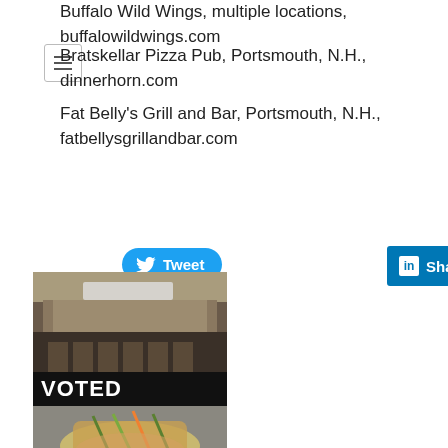Buffalo Wild Wings, multiple locations, buffalowildwings.com
Bratskellar Pizza Pub, Portsmouth, N.H., dinnerhorn.com
Fat Belly's Grill and Bar, Portsmouth, N.H., fatbellysgrillandbar.com
[Figure (screenshot): Tweet button (Twitter/X blue rounded button with bird icon) and LinkedIn Share button]
[Figure (photo): Restaurant bar interior photo on black background with VOTED text overlay, and food dish photo below]